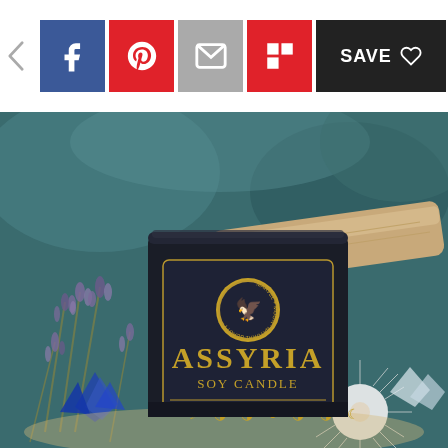[Figure (screenshot): Social sharing toolbar with back arrow, Facebook, Pinterest, Email, Flipboard, and Save buttons]
[Figure (photo): Product photo of Assyria Soy Candle by Marvel + Moon Natural Beauty, displayed in a matte black jar with gold lettering and moon phase icons, surrounded by dried lavender, crystals, driftwood, sea urchin, and sand on a teal marble background]